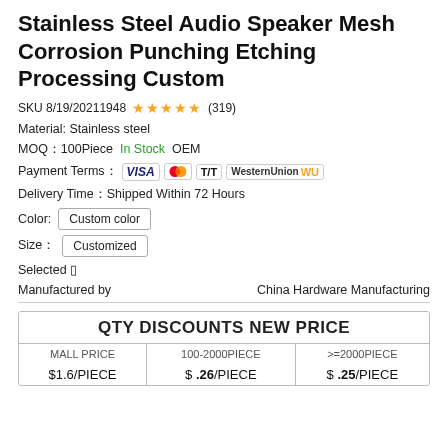Stainless Steel Audio Speaker Mesh Corrosion Punching Etching Processing Custom
SKU 8/19/20211948 ★★★★★ (319)
Material: Stainless steel
MOQ：100Piece   In Stock   OEM
Payment Terms： VISA  Mastercard  T/T  WesternUnion WU
Delivery Time：Shipped Within 72 Hours
Color:  Custom color
Size：  Customized
Selected ▯
Manufactured by                    China Hardware Manufacturing
| MALL PRICE | 100-2000PIECE | >=2000PIECE |
| --- | --- | --- |
| $1.6/PIECE | $ .26/PIECE | $ .25/PIECE |